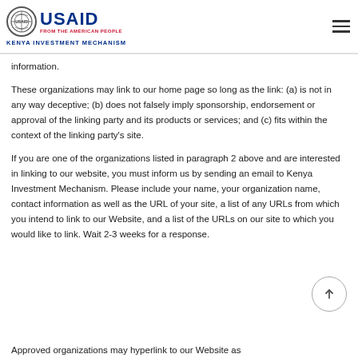USAID FROM THE AMERICAN PEOPLE — KENYA INVESTMENT MECHANISM
information.
These organizations may link to our home page so long as the link: (a) is not in any way deceptive; (b) does not falsely imply sponsorship, endorsement or approval of the linking party and its products or services; and (c) fits within the context of the linking party's site.
If you are one of the organizations listed in paragraph 2 above and are interested in linking to our website, you must inform us by sending an email to Kenya Investment Mechanism. Please include your name, your organization name, contact information as well as the URL of your site, a list of any URLs from which you intend to link to our Website, and a list of the URLs on our site to which you would like to link. Wait 2-3 weeks for a response.
Approved organizations may hyperlink to our Website as